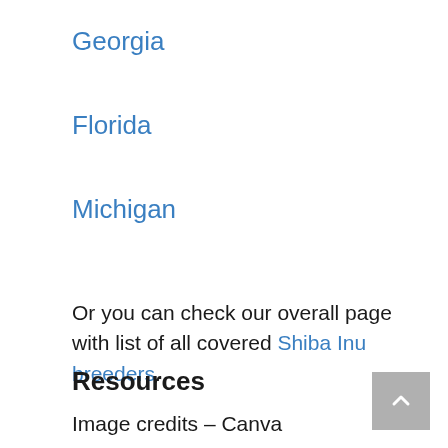Georgia
Florida
Michigan
Or you can check our overall page with list of all covered Shiba Inu breeders.
Resources
Image credits – Canva